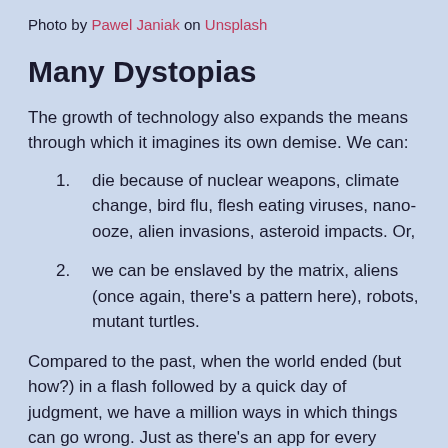Photo by Pawel Janiak on Unsplash
Many Dystopias
The growth of technology also expands the means through which it imagines its own demise. We can:
die because of nuclear weapons, climate change, bird flu, flesh eating viruses, nano-ooze, alien invasions, asteroid impacts. Or,
we can be enslaved by the matrix, aliens (once again, there's a pattern here), robots, mutant turtles.
Compared to the past, when the world ended (but how?) in a flash followed by a quick day of judgment, we have a million ways in which things can go wrong. Just as there's an app for every need, there's a